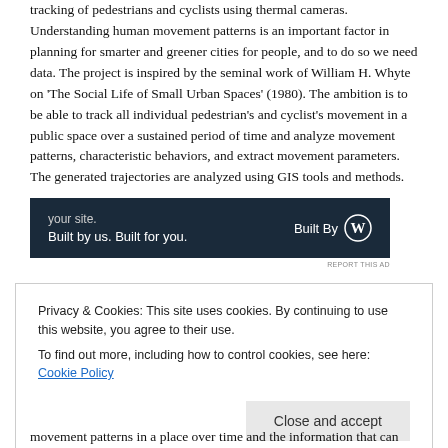tracking of pedestrians and cyclists using thermal cameras. Understanding human movement patterns is an important factor in planning for smarter and greener cities for people, and to do so we need data. The project is inspired by the seminal work of William H. Whyte on 'The Social Life of Small Urban Spaces' (1980). The ambition is to be able to track all individual pedestrian's and cyclist's movement in a public space over a sustained period of time and analyze movement patterns, characteristic behaviors, and extract movement parameters. The generated trajectories are analyzed using GIS tools and methods.
[Figure (other): Advertisement banner with dark blue background. Text reads 'your site. Built by us. Built for you.' with 'Built By' and WordPress logo on the right. 'REPORT THIS AD' text below.]
Privacy & Cookies: This site uses cookies. By continuing to use this website, you agree to their use. To find out more, including how to control cookies, see here: Cookie Policy
movement patterns in a place over time and the information that can